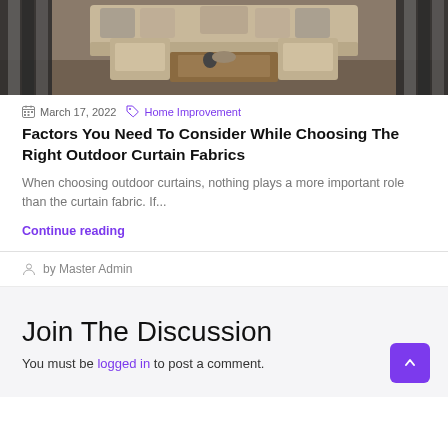[Figure (photo): Interior living room with furniture including chairs around a wooden coffee table, sofas with pillows, and black and white plaid curtains on either side]
March 17, 2022  Home Improvement
Factors You Need To Consider While Choosing The Right Outdoor Curtain Fabrics
When choosing outdoor curtains, nothing plays a more important role than the curtain fabric. If...
Continue reading
by Master Admin
Join The Discussion
You must be logged in to post a comment.